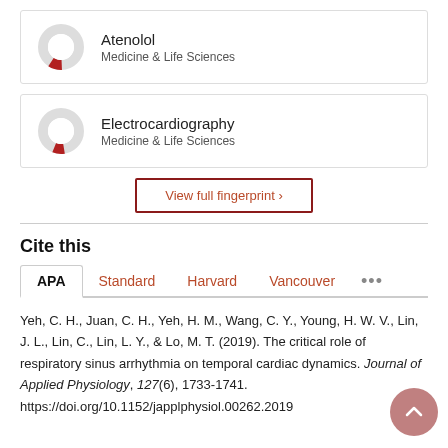[Figure (donut-chart): Donut chart showing a small red segment (~10%) for Atenolol, Medicine & Life Sciences]
[Figure (donut-chart): Donut chart showing a small red segment (~10%) for Electrocardiography, Medicine & Life Sciences]
View full fingerprint >
Cite this
APA  Standard  Harvard  Vancouver  ...
Yeh, C. H., Juan, C. H., Yeh, H. M., Wang, C. Y., Young, H. W. V., Lin, J. L., Lin, C., Lin, L. Y., & Lo, M. T. (2019). The critical role of respiratory sinus arrhythmia on temporal cardiac dynamics. Journal of Applied Physiology, 127(6), 1733-1741. https://doi.org/10.1152/japplphysiol.00262.2019